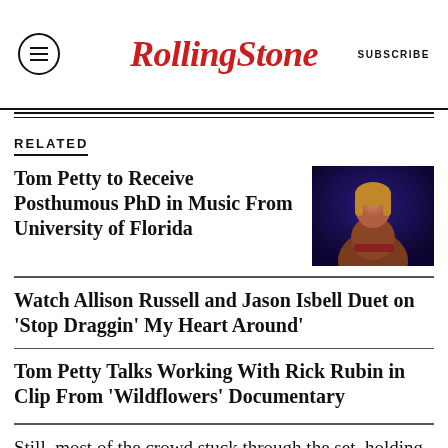RollingStone | SUBSCRIBE
RELATED
Tom Petty to Receive Posthumous PhD in Music From University of Florida
[Figure (photo): Photo of Tom Petty performing on stage, holding a guitar, wearing a brown jacket, dark blue background]
Watch Allison Russell and Jason Isbell Duet on 'Stop Draggin' My Heart Around'
Tom Petty Talks Working With Rick Rubin in Clip From 'Wildflowers' Documentary
Still, most of the crowd stuck through the set, holding out for their own Petty favorites, as well as the encore, which turned out to be a bit clichT: they+MTthat is,